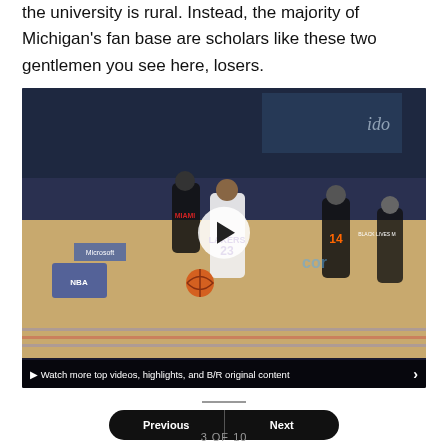the university is rural. Instead, the majority of Michigan's fan base are scholars like these two gentlemen you see here, losers.
[Figure (screenshot): Video thumbnail of an NBA basketball game showing LeBron James (#23, Lakers) dribbling past Miami Heat defenders including player #14, with a play button overlay and a caption bar reading 'Watch more top videos, highlights, and B/R original content']
3 OF 10